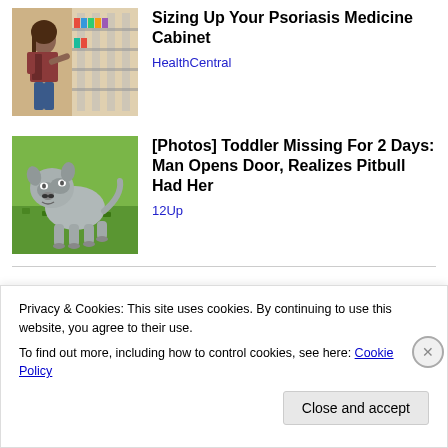[Figure (photo): Woman in pharmacy/store aisle browsing shelves]
Sizing Up Your Psoriasis Medicine Cabinet
HealthCentral
[Figure (photo): Grey/white pitbull dog standing on grass]
[Photos] Toddler Missing For 2 Days: Man Opens Door, Realizes Pitbull Had Her
12Up
Privacy & Cookies: This site uses cookies. By continuing to use this website, you agree to their use.
To find out more, including how to control cookies, see here: Cookie Policy
Close and accept